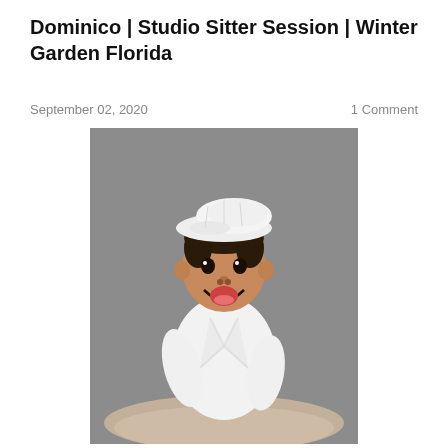Dominico | Studio Sitter Session | Winter Garden Florida
September 02, 2020
1 Comment
[Figure (photo): A smiling baby wearing a white flat cap and white outfit, sitting on a fur rug against a gray studio background]